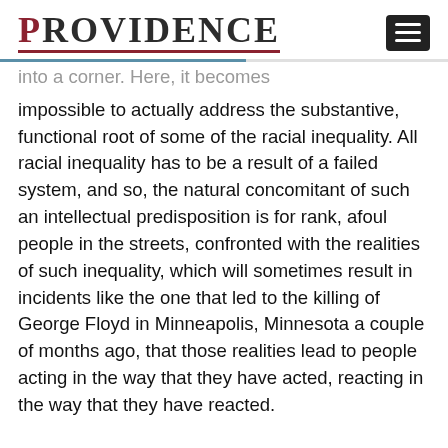PROVIDENCE
into a corner. Here, it becomes impossible to actually address the substantive, functional root of some of the racial inequality. All racial inequality has to be a result of a failed system, and so, the natural concomitant of such an intellectual predisposition is for rank, afoul people in the streets, confronted with the realities of such inequality, which will sometimes result in incidents like the one that led to the killing of George Floyd in Minneapolis, Minnesota a couple of months ago, that those realities lead to people acting in the way that they have acted, reacting in the way that they have reacted.